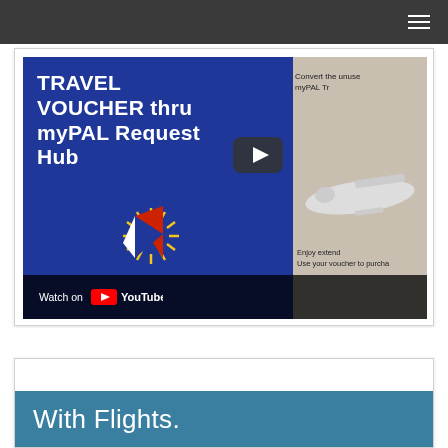[Figure (screenshot): YouTube video thumbnail showing Philippine Airlines travel voucher promotional video. Text reads: TRAVEL VOUCHER thru myPAL Request Hub. Right side shows: Convert the unused [text cut off] myPAL Tr[text cut off]. Bottom shows Watch on YouTube button. Philippine Airlines logo visible. Lower right shows: Enjoy extend[ed] / Use your voucher to purcha[se]]
With Flights.